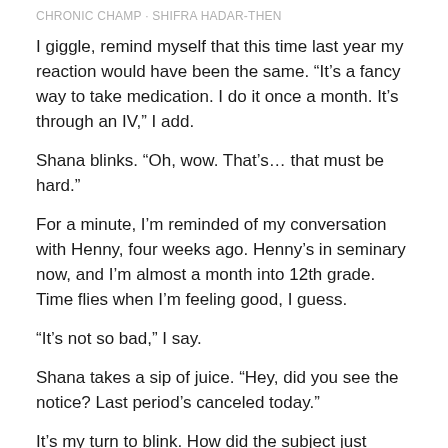CHRONIC CHAMP · SHIFRA HADAR-THEN
I giggle, remind myself that this time last year my reaction would have been the same. “It’s a fancy way to take medication. I do it once a month. It’s through an IV,” I add.
Shana blinks. “Oh, wow. That’s… that must be hard.”
For a minute, I’m reminded of my conversation with Henny, four weeks ago. Henny’s in seminary now, and I’m almost a month into 12th grade. Time flies when I’m feeling good, I guess.
“It’s not so bad,” I say.
Shana takes a sip of juice. “Hey, did you see the notice? Last period’s canceled today.”
It’s my turn to blink. How did the subject just change? But I can handle this. “Yeah, pre-Yom Kippur something? The schedule’s been so…”